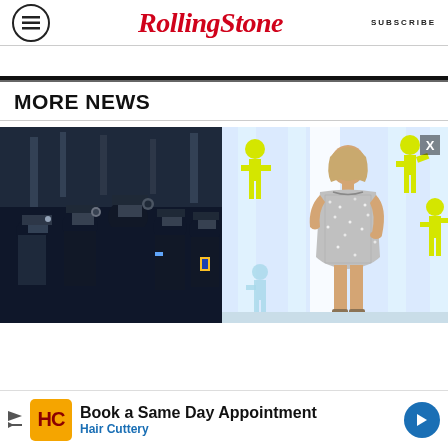Rolling Stone — SUBSCRIBE
MORE NEWS
[Figure (photo): Two-panel photo strip: left side shows a group of paparazzi photographers with cameras at an event; right side shows a woman in a sparkly silver mini dress posing at what appears to be MTV VMAs red carpet with yellow dancer silhouette decorations in background.]
[Figure (infographic): Bottom advertisement banner: 'Book a Same Day Appointment' from Hair Cuttery, featuring orange HC logo box, text, and blue navigation arrow.]